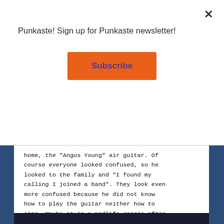Punkaste! Sign up for Punkaste newsletter!
Subscribe
home, the “Angus Young” air guitar. Of course everyone looked confused, so he looked to the family and “I found my calling I joined a band”. They look even more confused because he did not know how to play the guitar neither how to sing. Maybe it is a midlife crisis after all. But Rirou completed, don’t worry is a school of Rock program, I gonna learn how to play and sing for fun and that was an instant relief.